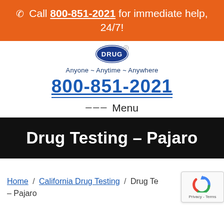📞 Call 800-851-2021 for immediate help, 24/7!
[Figure (logo): National Drug Screening logo badge — blue circular badge with 'DRUG' text, registered trademark symbol. Tagline: Anyone ~ Anytime ~ Anywhere]
800-851-2021
≡ Menu
Drug Testing – Pajaro
Home / California Drug Testing / Drug Testing – Pajaro